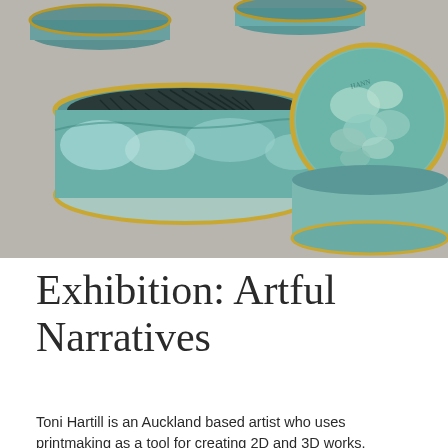[Figure (photo): Close-up photograph of decorative cylindrical tins with teal/green printmaking artwork on their sides and lids. The tins have gold/brass rims. The artwork shows landscape and abstract patterns in blue-green and teal tones. Set against a warm grey background.]
Exhibition: Artful Narratives
Toni Hartill is an Auckland based artist who uses printmaking as a tool for creating 2D and 3D works.